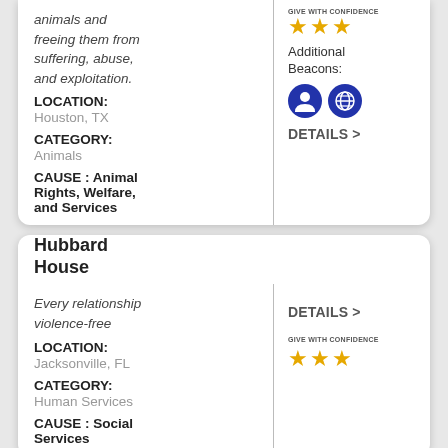animals and freeing them from suffering, abuse, and exploitation.
LOCATION: Houston, TX
CATEGORY: Animals
CAUSE : Animal Rights, Welfare, and Services
[Figure (other): Give With Confidence badge with 3 gold stars, Additional Beacons label, two circular icons (person icon and globe/network icon), and DETAILS > link]
Hubbard House
Every relationship violence-free
LOCATION: Jacksonville, FL
CATEGORY: Human Services
CAUSE : Social Services
[Figure (other): DETAILS > link and Give With Confidence badge with 3 gold stars]